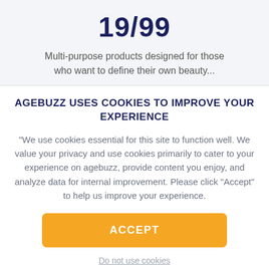19/99
Multi-purpose products designed for those who want to define their own beauty...
AGEBUZZ USES COOKIES TO IMPROVE YOUR EXPERIENCE
"We use cookies essential for this site to function well. We value your privacy and use cookies primarily to cater to your experience on agebuzz, provide content you enjoy, and analyze data for internal improvement. Please click "Accept" to help us improve your experience.
ACCEPT
Do not use cookies